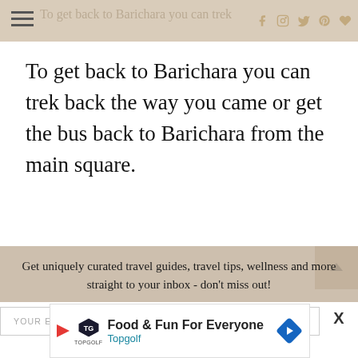Navigation bar with hamburger menu and social icons (Facebook, Instagram, Twitter, Pinterest, Heart)
To get back to Barichara you can trek back the way you came or get the bus back to Barichara from the main square.
Get uniquely curated travel guides, travel tips, wellness and more straight to your inbox - don't miss out!
YOUR EMAIL ADDRESS
[Figure (screenshot): Advertisement banner for Topgolf: Food & Fun For Everyone]
X